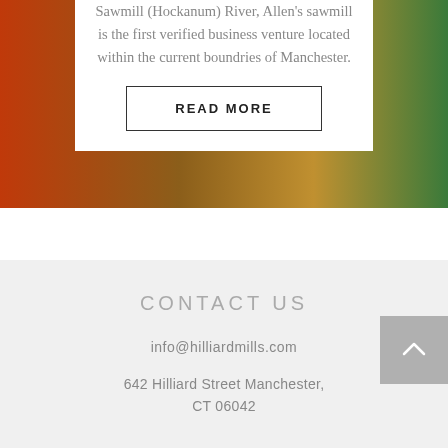Sawmill (Hockanum) River, Allen's sawmill is the first verified business venture located within the current boundries of Manchester.
READ MORE
CONTACT US
info@hilliardmills.com
642 Hilliard Street Manchester, CT 06042